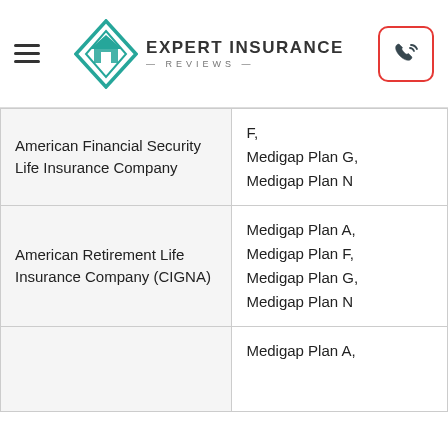Expert Insurance Reviews
| Company | Plans |
| --- | --- |
| American Financial Security Life Insurance Company | F, Medigap Plan G, Medigap Plan N |
| American Retirement Life Insurance Company (CIGNA) | Medigap Plan A, Medigap Plan F, Medigap Plan G, Medigap Plan N |
|  | Medigap Plan A, |